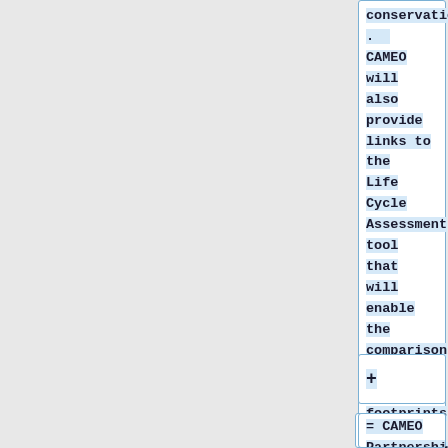conservation.  CAMEO will also provide links to the Life Cycle Assessment tool that will enable the comparison of carbon footprints for over 3000 materials.
+
= CAMEO Partnership =